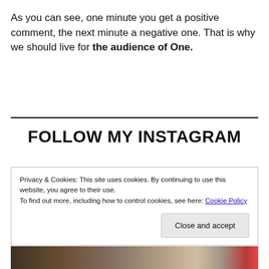As you can see, one minute you get a positive comment, the next minute a negative one. That is why we should live for the audience of One.
FOLLOW MY INSTAGRAM
Privacy & Cookies: This site uses cookies. By continuing to use this website, you agree to their use.
To find out more, including how to control cookies, see here: Cookie Policy
[Figure (photo): Bottom image strip showing a dark partially visible photo]